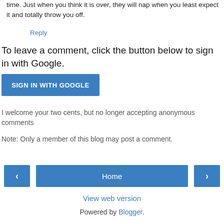time. Just when you think it is over, they will nap when you least expect it and totally throw you off.
Reply
To leave a comment, click the button below to sign in with Google.
[Figure (other): Blue 'SIGN IN WITH GOOGLE' button]
I welcome your two cents, but no longer accepting anonymous comments
Note: Only a member of this blog may post a comment.
[Figure (other): Navigation bar with left arrow button, Home button, and right arrow button]
View web version
Powered by Blogger.